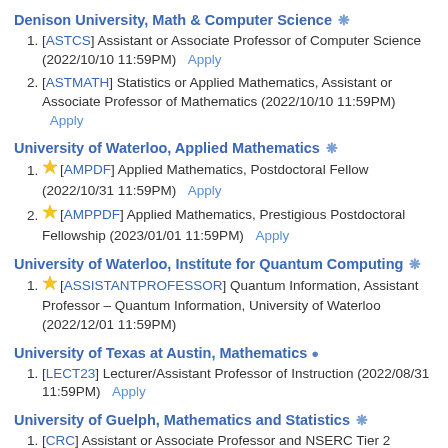Denison University, Math & Computer Science ❄
[ASTCS] Assistant or Associate Professor of Computer Science (2022/10/10 11:59PM)   Apply
[ASTMATH] Statistics or Applied Mathematics, Assistant or Associate Professor of Mathematics (2022/10/10 11:59PM)   Apply
University of Waterloo, Applied Mathematics ❄
★[AMPDF] Applied Mathematics, Postdoctoral Fellow (2022/10/31 11:59PM)   Apply
★[AMPPDF] Applied Mathematics, Prestigious Postdoctoral Fellowship (2023/01/01 11:59PM)   Apply
University of Waterloo, Institute for Quantum Computing ❄
★[ASSISTANTPROFESSOR] Quantum Information, Assistant Professor – Quantum Information, University of Waterloo (2022/12/01 11:59PM)
University of Texas at Austin, Mathematics ●
[LECT23] Lecturer/Assistant Professor of Instruction (2022/08/31 11:59PM)   Apply
University of Guelph, Mathematics and Statistics ❄
[CRC] Assistant or Associate Professor and NSERC Tier 2 Canada Research Chair (CRC) in One Health approaches to